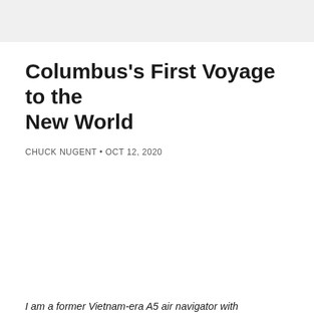Columbus's First Voyage to the New World
CHUCK NUGENT • OCT 12, 2020
I am a former Vietnam-era A5 air navigator with